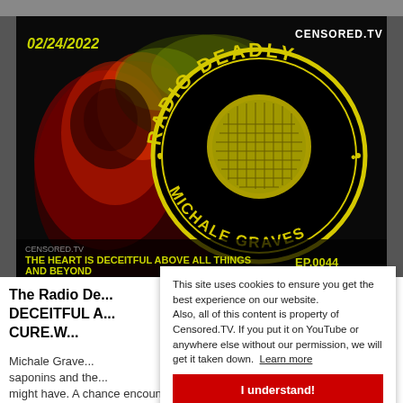[Figure (screenshot): Radio Deadly with Michale Graves podcast thumbnail. Dark background with red/green smoke and skull imagery on the left. Large yellow circular stamp logo reading 'RADIO DEADLY · MICHALE GRAVES · ' in the center-right. Date '02/24/2022' in yellow italic top-left. 'CENSORED.TV' in white top-right. Bottom text in yellow: 'THE HEART IS DECEITFUL ABOVE ALL THINGS AND BEYOND' and 'EP.0044'.]
The Radio De... DECEITFUL A... CURE.W...
Michale Grave... saponins and the... might have. A chance encounter with an...
This site uses cookies to ensure you get the best experience on our website. Also, all of this content is property of Censored.TV. If you put it on YouTube or anywhere else without our permission, we will get it taken down. Learn more
I understand!